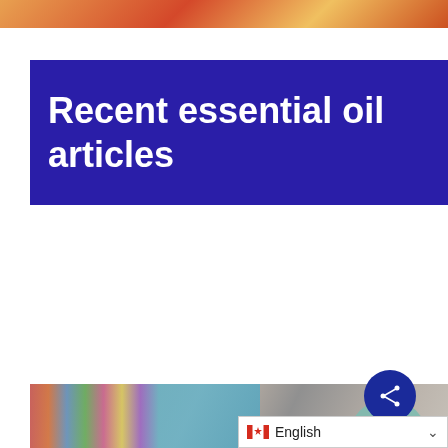[Figure (photo): Partial top image strip showing warm orange/red tones, possibly food or flame]
Recent essential oil articles
[Figure (photo): Article card with pencils and essential oil label background, text: 'could put students in the mood to learn | CBS8']
[Figure (photo): Article card with water splash and mint leaves background, text: 'Science | Tasting Table']